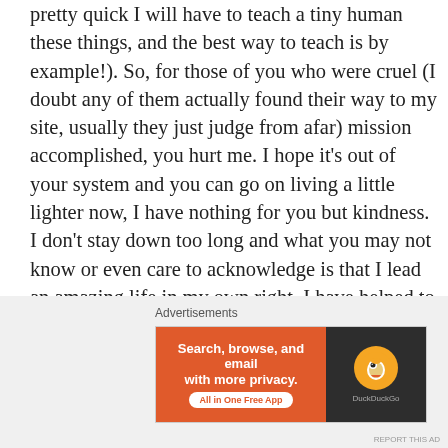pretty quick I will have to teach a tiny human these things, and the best way to teach is by example!).  So, for those of you who were cruel (I doubt any of them actually found their way to my site, usually they just judge from afar) mission accomplished, you hurt me.  I hope it's out of your system and you can go on living a little lighter now, I have nothing for you but kindness.  I don't stay down too long and what you may not know or even care to acknowledge is that I lead an amazing life in my own right, I have helped to make it that way (I promise, its not all dumb luck though there is PLENTY of that).  I hope everyone is as lucky as me though sadly I know they aren't.  I hope I can be an inspiration of sorts for someone even through the hateful comments. I hope others don't get down and stop their
Advertisements
[Figure (other): DuckDuckGo advertisement banner: orange background on left with text 'Search, browse, and email with more privacy. All in One Free App', dark background on right with DuckDuckGo duck logo]